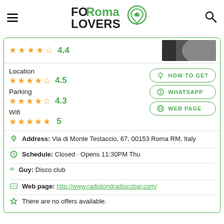FORoma LOVERS
★★★★½ 4.4
Location
★★★★½ 4.5
Parking
★★★★½ 4.3
Wifi
★★★★★ 5
HOW TO GET
WHATSAPP
WEB PAGE
Address: Via di Monte Testaccio, 67, 00153 Roma RM, Italy
Schedule: Closed · Opens 11:30PM Thu
Guy: Disco club
Web page: http://www.radiolondradiscobar.com/
There are no offers available.